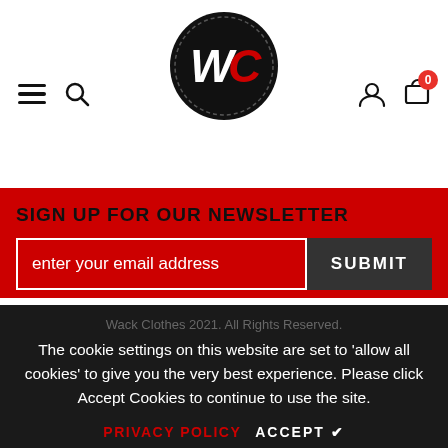[Figure (logo): Wack Clothes logo — black circle with stitched border and stylized WC letters in white and red]
SIGN UP FOR OUR NEWSLETTER
enter your email address
SUBMIT
Wack Clothes 2021. All Rights Reserved.
The cookie settings on this website are set to 'allow all cookies' to give you the very best experience. Please click Accept Cookies to continue to use the site.
PRIVACY POLICY   ACCEPT ✔